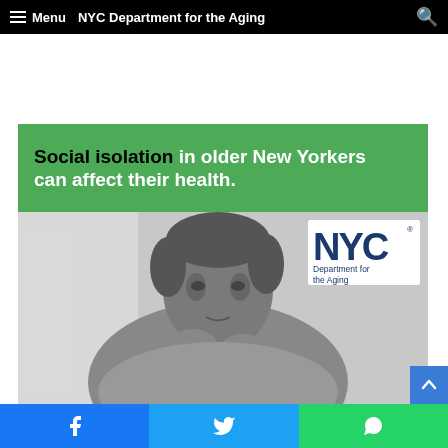Menu | NYC Department for the Aging
[Figure (photo): NYC Department for the Aging promotional image. Green banner at top reads 'Social isolation in older New Yorkers can affect their health.' Below is a black and white photo of an older Black woman looking contemplative, with the NYC Department for the Aging logo in the upper right of the photo.]
Facebook | Twitter | WhatsApp social share buttons